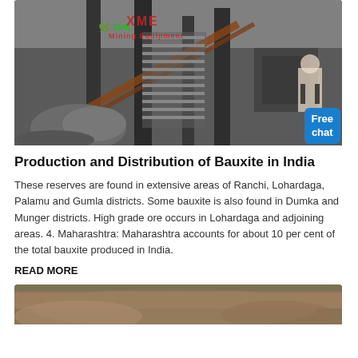[Figure (photo): Industrial mining/crushing equipment photograph with XME Mining Equipment logo watermark in green and red. A chat widget with 'Free chat' label and a person figure is overlaid in the bottom right corner.]
Production and Distribution of Bauxite in India
These reserves are found in extensive areas of Ranchi, Lohardaga, Palamu and Gumla districts. Some bauxite is also found in Dumka and Munger districts. High grade ore occurs in Lohardaga and adjoining areas. 4. Maharashtra: Maharashtra accounts for about 10 per cent of the total bauxite produced in India.
READ MORE
[Figure (photo): Partial view of a rocky/mountainous terrain photograph, cropped at the bottom of the page.]